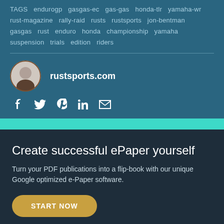TAGS endurogp gasgas-ec gas-gas honda-tlr yamaha-wr rust-magazine rally-raid rusts rustsports jon-bentman gasgas rust enduro honda championship yamaha suspension trials edition riders
[Figure (illustration): Circular avatar with silhouette of a person, brown border]
rustsports.com
[Figure (infographic): Social media icons: Facebook, Twitter, Pinterest, LinkedIn, Email]
Create successful ePaper yourself
Turn your PDF publications into a flip-book with our unique Google optimized e-Paper software.
START NOW